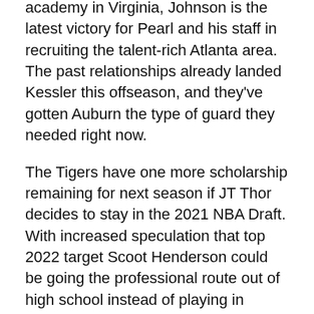academy in Virginia, Johnson is the latest victory for Pearl and his staff in recruiting the talent-rich Atlanta area. The past relationships already landed Kessler this offseason, and they've gotten Auburn the type of guard they needed right now.
The Tigers have one more scholarship remaining for next season if JT Thor decides to stay in the 2021 NBA Draft. With increased speculation that top 2022 target Scoot Henderson could be going the professional route out of high school instead of playing in college, it will be interesting to see how Auburn uses that final slot — especially with Johnson's addition to a strengthening backcourt.
But things move quickly in the portal. Johnson went from being a member of Georgia's roster to an Auburn